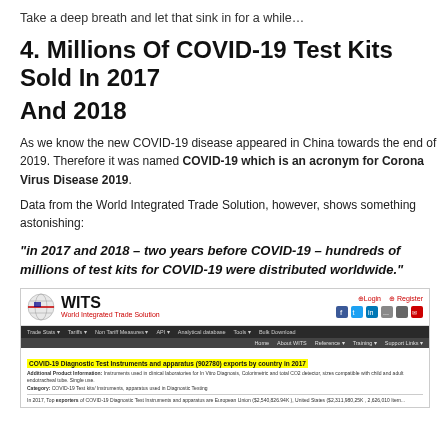Take a deep breath and let that sink in for a while…
4. Millions Of COVID-19 Test Kits Sold In 2017
And 2018
As we know the new COVID-19 disease appeared in China towards the end of 2019. Therefore it was named COVID-19 which is an acronym for Corona Virus Disease 2019.
Data from the World Integrated Trade Solution, however, shows something astonishing:
“in 2017 and 2018 – two years before COVID-19 – hundreds of millions of test kits for COVID-19 were distributed worldwide.”
[Figure (screenshot): Screenshot of the WITS (World Integrated Trade Solution) website showing a page about COVID-19 Diagnostic Test Instruments and apparatus (902780) exports by country in 2017, with a yellow-highlighted title and additional product information text.]